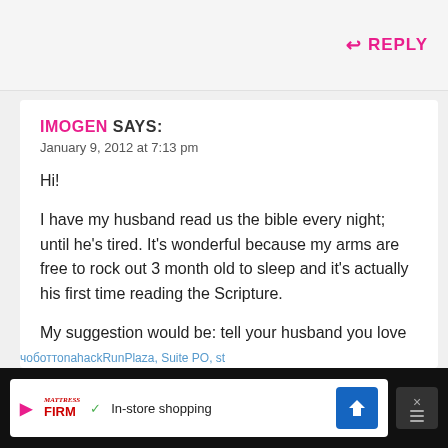REPLY
IMOGEN SAYS:
January 9, 2012 at 7:13 pm
Hi!
I have my husband read us the bible every night; until he's tired. It's wonderful because my arms are free to rock out 3 month old to sleep and it's actually his first time reading the Scripture.
My suggestion would be: tell your husband you love his voice and get familiar with Scripture...
[Figure (screenshot): Advertisement banner at bottom of page featuring Mattress Firm logo and In-store shopping text]